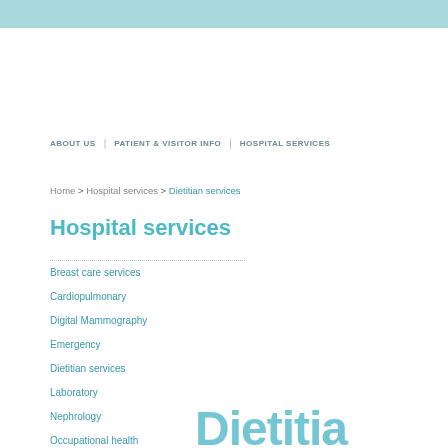ABOUT US | PATIENT & VISITOR INFO | HOSPITAL SERVICES
Home > Hospital services > Dietitian services
Hospital services
Breast care services
Cardiopulmonary
Digital Mammography
Emergency
Dietitian services
Laboratory
Nephrology
Occupational health
Dietitia...